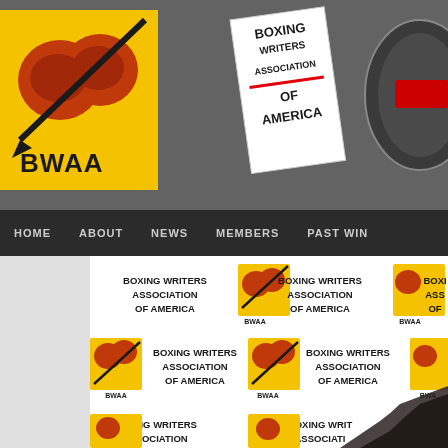[Figure (logo): BWAA Boxing Writers Association of America website header with logos on dark gray background. Left: BWAA yellow logo with boxing gloves. Center: Boxing Writers Association of America text logo. Right: Partially visible circular award/belt logo.]
[Figure (screenshot): Navigation bar with items: HOME, ABOUT, NEWS, MEMBERS, PAST WIN (truncated) on dark background.]
[Figure (photo): Photo of person at Boxing Writers Association of America event backdrop, showing repeated BWAA logos and Boxing Writers Association of America text.]